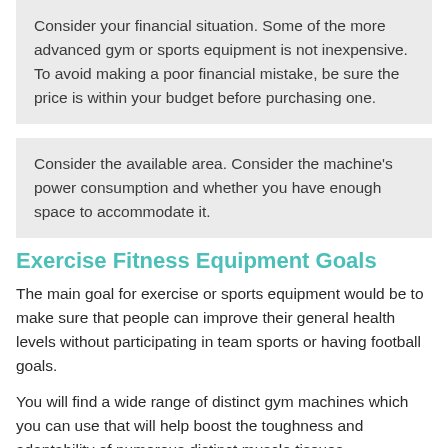Consider your financial situation. Some of the more advanced gym or sports equipment is not inexpensive. To avoid making a poor financial mistake, be sure the price is within your budget before purchasing one.
Consider the available area. Consider the machine's power consumption and whether you have enough space to accommodate it.
Exercise Fitness Equipment Goals
The main goal for exercise or sports equipment would be to make sure that people can improve their general health levels without participating in team sports or having football goals.
You will find a wide range of distinct gym machines which you can use that will help boost the toughness and adaptability of numerous distinct muscle tissues.
Exercise apparatus is produced to help improve physical health in the 3 key sorts of physical exercise, all of which improve different parts of health and fitness.